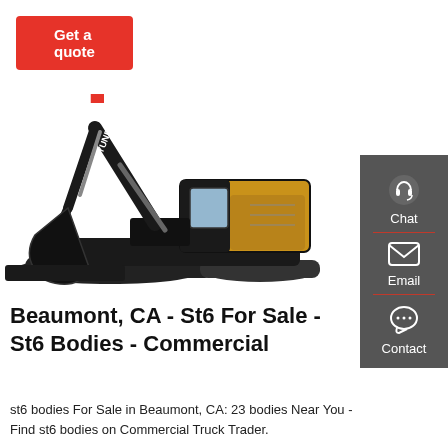Get a quote
[Figure (photo): Hyundai excavator/crawler machine, black and yellow, on white background]
[Figure (infographic): Dark gray sidebar with Chat (headset icon), Email (envelope icon), and Contact (speech bubble icon) buttons separated by red dividers]
Beaumont, CA - St6 For Sale - St6 Bodies - Commercial
st6 bodies For Sale in Beaumont, CA: 23 bodies Near You - Find st6 bodies on Commercial Truck Trader.